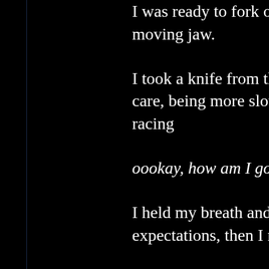I was ready to fork over six hu... moving jaw.
I took a knife from the drawer... care, being more slow about it... racing
oookay, how am I going to exp...
I held my breath and prayed th... expectations, then I reached do...
It was beautiful.
It was exactly how I had descr... The hair was golden and in cu... orbs with round pupils. The sk... latex, and it felt smooth and c...